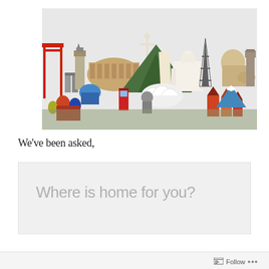[Figure (illustration): A collage of famous world landmarks including the Eiffel Tower, Colosseum, Taj Mahal, Sydney Opera House, Christ the Redeemer, Big Ben, Great Sphinx, Torii gate, Saint Basil's Cathedral, Buddha statue, and others arranged together into a single composite image.]
We've been asked,
Where is home for you?
Follow ...